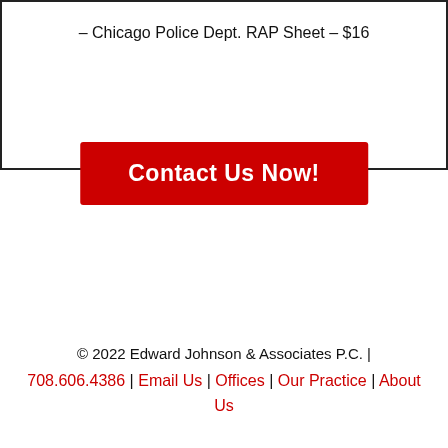– Chicago Police Dept. RAP Sheet – $16
[Figure (other): Red 'Contact Us Now!' call-to-action button]
© 2022 Edward Johnson & Associates P.C. | 708.606.4386 | Email Us | Offices | Our Practice | About Us